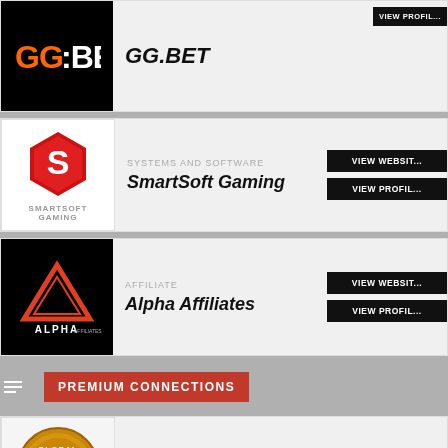[Figure (logo): GG.BET logo in orange and white on black background]
GG.BET
[Figure (logo): SmartSoft Gaming red hexagon S logo on white background]
SYSTEMS AND SOFTWARE
SmartSoft Gaming
[Figure (logo): Alpha Affiliates triangle logo on black background]
AFFILIATE
Alpha Affiliates
PREMIUM CONNECTIONS
[Figure (logo): Global Gaming Awards gold medal logo]
INDUSTRY AWARDS
Global Gaming Awards